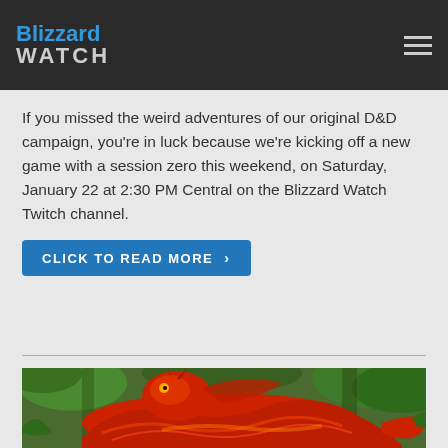Blizzard Watch
If you missed the weird adventures of our original D&D campaign, you're in luck because we're kicking off a new game with a session zero this weekend, on Saturday, January 22 at 2:30 PM Central on the Blizzard Watch Twitch channel.
Click to read more ›
[Figure (illustration): Fantasy illustration of a large red dragon coiled in a jungle/forest setting with green foliage in the background]